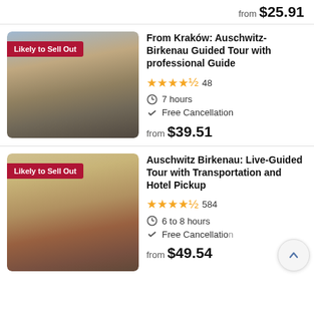from $25.91
[Figure (photo): Tour group standing in front of Auschwitz gate with brick buildings, labeled 'Likely to Sell Out']
From Kraków: Auschwitz-Birkenau Guided Tour with professional Guide
4.5 stars, 48 reviews
7 hours
Free Cancellation
from $39.51
[Figure (photo): Person standing in Auschwitz Birkenau courtyard, labeled 'Likely to Sell Out']
Auschwitz Birkenau: Live-Guided Tour with Transportation and Hotel Pickup
4.5 stars, 584 reviews
6 to 8 hours
Free Cancellation
from $49.54